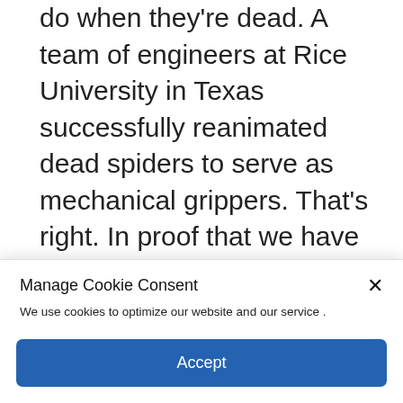do when they're dead. A team of engineers at Rice University in Texas successfully reanimated dead spiders to serve as mechanical grippers. That's right. In proof that we have permanently strayed from God's light, the team published a … Read more
Science
Innovation, insect, Robot, Robotics, Technology
Manage Cookie Consent
We use cookies to optimize our website and our service .
Accept